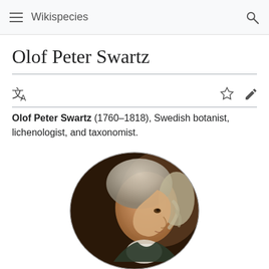Wikispecies
Olof Peter Swartz
Olof Peter Swartz (1760–1818), Swedish botanist, lichenologist, and taxonomist.
[Figure (illustration): Oval portrait painting of Olof Peter Swartz in side profile, facing left, with white/grey powdered wig and formal 18th-century attire, painted in warm tones against a dark background.]